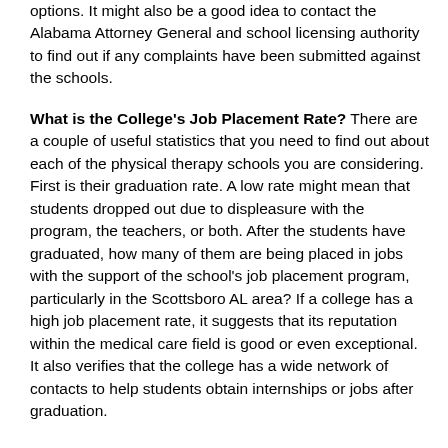options. It might also be a good idea to contact the Alabama Attorney General and school licensing authority to find out if any complaints have been submitted against the schools.
What is the College's Job Placement Rate? There are a couple of useful statistics that you need to find out about each of the physical therapy schools you are considering. First is their graduation rate. A low rate might mean that students dropped out due to displeasure with the program, the teachers, or both. After the students have graduated, how many of them are being placed in jobs with the support of the school's job placement program, particularly in the Scottsboro AL area? If a college has a high job placement rate, it suggests that its reputation within the medical care field is good or even exceptional. It also verifies that the college has a wide network of contacts to help students obtain internships or jobs after graduation.